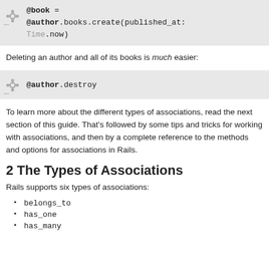[Figure (screenshot): Code block with gear icon showing: @book = @author.books.create(published_at: Time.now)]
Deleting an author and all of its books is much easier:
[Figure (screenshot): Code block with gear icon showing: @author.destroy]
To learn more about the different types of associations, read the next section of this guide. That's followed by some tips and tricks for working with associations, and then by a complete reference to the methods and options for associations in Rails.
2 The Types of Associations
Rails supports six types of associations:
belongs_to
has_one
has_many